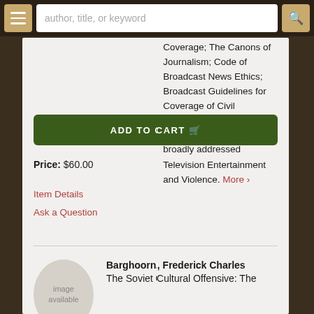author, title, or keyword
Coverage; The Canons of Journalism; Code of Broadcast News Ethics; Broadcast Guidelines for Coverage of Civil Disorders; and Employment Date. Part III broadly addressed Television Entertainment and Violence. More ›
ADD TO CART
Price: $60.00
Item Details
Ask a Question
Barghoorn, Frederick Charles
The Soviet Cultural Offensive: The